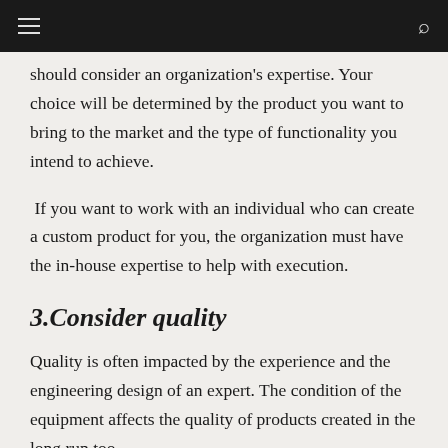should consider an organization's expertise. Your choice will be determined by the product you want to bring to the market and the type of functionality you intend to achieve.
If you want to work with an individual who can create a custom product for you, the organization must have the in-house expertise to help with execution.
3.Consider quality
Quality is often impacted by the experience and the engineering design of an expert. The condition of the equipment affects the quality of products created in the long run too.
When choosing between various partners, check their quality standards, practices, and track record. This is the